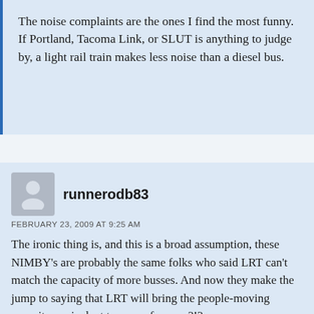The noise complaints are the ones I find the most funny. If Portland, Tacoma Link, or SLUT is anything to judge by, a light rail train makes less noise than a diesel bus.
runnerodb83
FEBRUARY 23, 2009 AT 9:25 AM
The ironic thing is, and this is a broad assumption, these NIMBY's are probably the same folks who said LRT can't match the capacity of more busses. And now they make the jump to saying that LRT will bring the people-moving capacity equivalent to a new freeway?!?